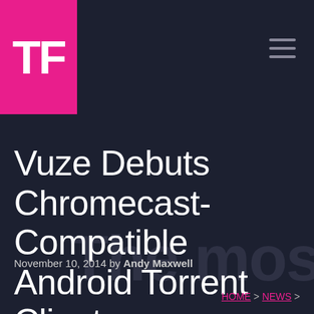TF
Vuze Debuts Chromecast-Compatible Android Torrent Client
November 10, 2014 by Andy Maxwell
HOME > NEWS >